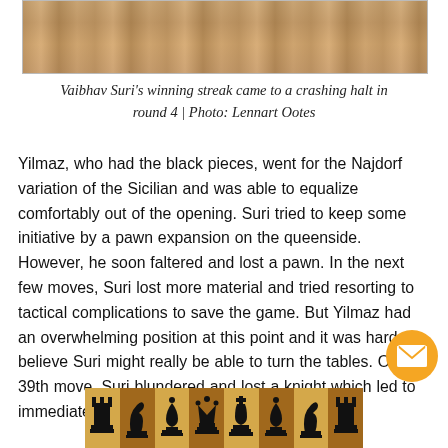[Figure (photo): Blurred/bokeh photo of chess pieces, cropped at top]
Vaibhav Suri's winning streak came to a crashing halt in round 4 | Photo: Lennart Ootes
Yilmaz, who had the black pieces, went for the Najdorf variation of the Sicilian and was able to equalize comfortably out of the opening. Suri tried to keep some initiative by a pawn expansion on the queenside. However, he soon faltered and lost a pawn. In the next few moves, Suri lost more material and tried resorting to tactical complications to save the game. But Yilmaz had an overwhelming position at this point and it was hard to believe Suri might really be able to turn the tables. On his 39th move, Suri blundered and lost a knight which led to immediate resignation.
[Figure (illustration): Chess pieces strip at bottom of page showing rook, knight, bishop, queen, king, bishop, knight, rook on alternating light and dark squares]